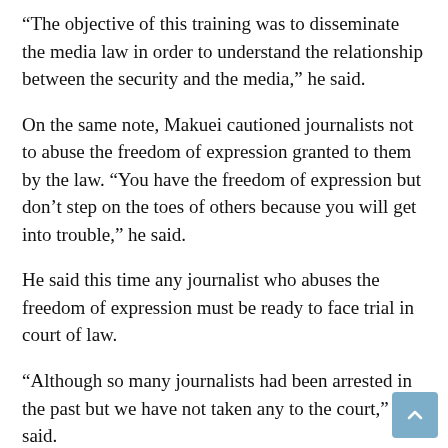“The objective of this training was to disseminate the media law in order to understand the relationship between the security and the media,” he said.
On the same note, Makuei cautioned journalists not to abuse the freedom of expression granted to them by the law. “You have the freedom of expression but don’t step on the toes of others because you will get into trouble,” he said.
He said this time any journalist who abuses the freedom of expression must be ready to face trial in court of law.
“Although so many journalists had been arrested in the past but we have not taken any to the court,” he said.
To the security, you just arrest anybody (journalist) which is against the law because if you go ahead arresting journalists you are abusing your own power,” Makuei said.